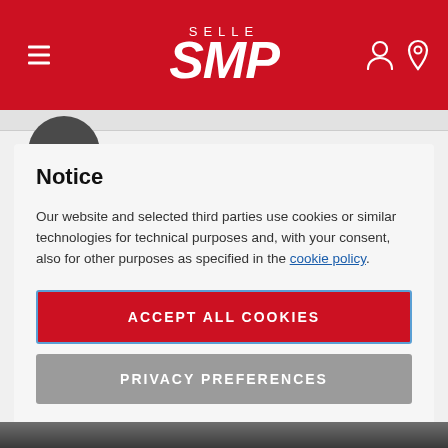Selle SMP — website header with hamburger menu, logo, and icons
Notice
Our website and selected third parties use cookies or similar technologies for technical purposes and, with your consent, also for other purposes as specified in the cookie policy.
ACCEPT ALL COOKIES
PRIVACY PREFERENCES